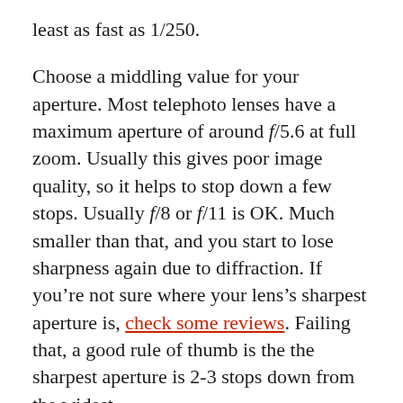least as fast as 1/250.
Choose a middling value for your aperture. Most telephoto lenses have a maximum aperture of around f/5.6 at full zoom. Usually this gives poor image quality, so it helps to stop down a few stops. Usually f/8 or f/11 is OK. Much smaller than that, and you start to lose sharpness again due to diffraction. If you’re not sure where your lens’s sharpest aperture is, check some reviews. Failing that, a good rule of thumb is the the sharpest aperture is 2-3 stops down from the widest.
Feel free to set the ISO as high as you like. You may be aware that higher ISOs cause more noise in the picture – especially in low light conditions. This is absolutely true, but in this case it doesn’t